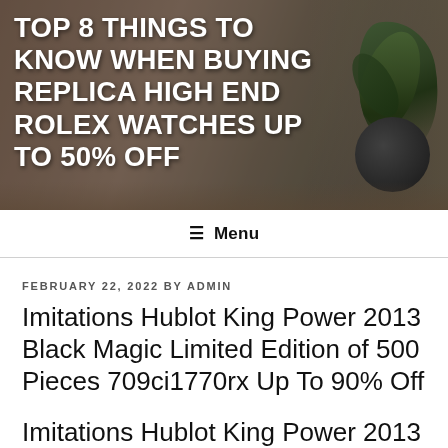[Figure (photo): Hero banner with blurred background photo of a wooden table with a dark round plant pot and succulent plant. Bold white text overlay.]
TOP 8 THINGS TO KNOW WHEN BUYING REPLICA HIGH END ROLEX WATCHES UP TO 50% OFF
≡ Menu
FEBRUARY 22, 2022 BY ADMIN
Imitations Hublot King Power 2013 Black Magic Limited Edition of 500 Pieces 709ci1770rx Up To 90% Off
Imitations Hublot King Power 2013